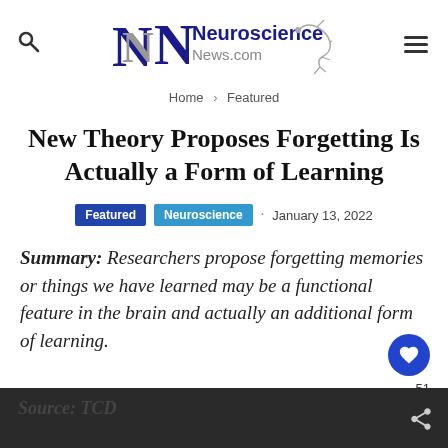[Figure (logo): Neuroscience News.com logo with stylized NN letters and neuron graphic]
Home > Featured
New Theory Proposes Forgetting Is Actually a Form of Learning
Featured · Neuroscience · January 13, 2022
Summary: Researchers propose forgetting memories or things we have learned may be a functional feature in the brain and actually an additional form of learning.
Source: TCD